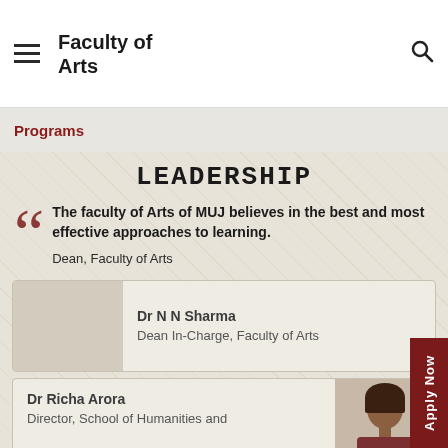Faculty of Arts
Programs
LEADERSHIP
The faculty of Arts of MUJ believes in the best and most effective approaches to learning.

Dean, Faculty of Arts
Dr N N Sharma
Dean In-Charge, Faculty of Arts
Dr Richa Arora
Director, School of Humanities and